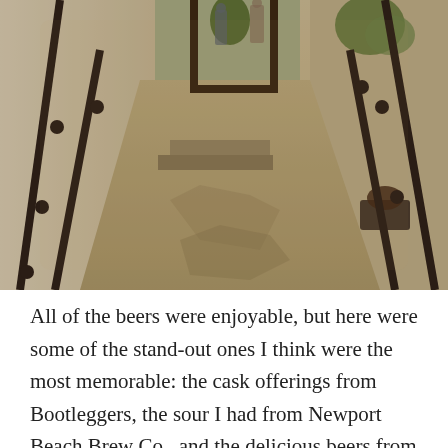[Figure (photo): Exterior photo of a building entrance with dark metal railings on both sides, a walkway/pathway visible in the center, a doorway/gate open in the background revealing a patio area with plants and people, shot in a warm sepia/vintage tone]
All of the beers were enjoyable, but here were some of the stand-out ones I think were the most memorable: the cask offerings from Bootleggers, the sour I had from Newport Beach Brew Co., and the delicious beers from Monkish. I know, I need to be telling you which beers but honestly it